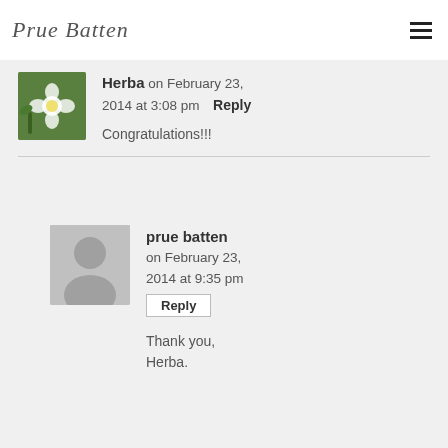Prue Batten
Herba on February 23, 2014 at 3:08 pm Reply
Congratulations!!!
prue batten on February 23, 2014 at 9:35 pm Reply
Thank you, Herba.
Leave a Comment Cancel